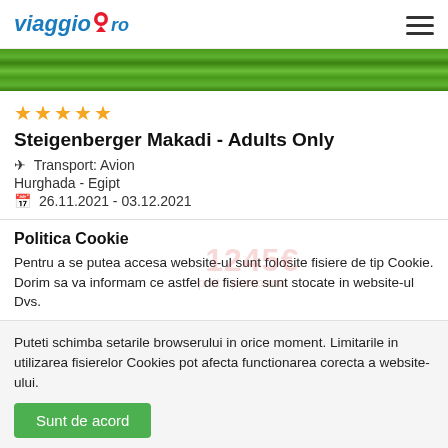viaggio.ro
[Figure (photo): Green grass/lawn image strip at top of page]
Steigenberger Makadi - Adults Only
✈ Transport: Avion
Hurghada - Egipt
📅 26.11.2021 - 03.12.2021
Politica Cookie
Pentru a se putea accesa website-ul sunt folosite fisiere de tip Cookie. Dorim sa va informam ce astfel de fisiere sunt stocate in website-ul Dvs.
Puteti schimba setarile browserului in orice moment. Limitarile in utilizarea fisierelor Cookies pot afecta functionarea corecta a website-ului.